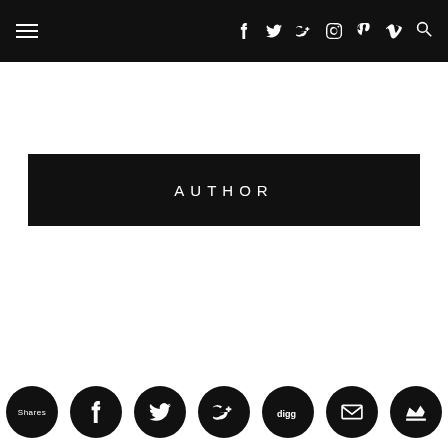Navigation bar with hamburger menu and social icons: f, twitter, G+, instagram, pinterest, vimeo, search
AUTHOR
Shares, facebook, twitter, google+, digg, email, crown share buttons